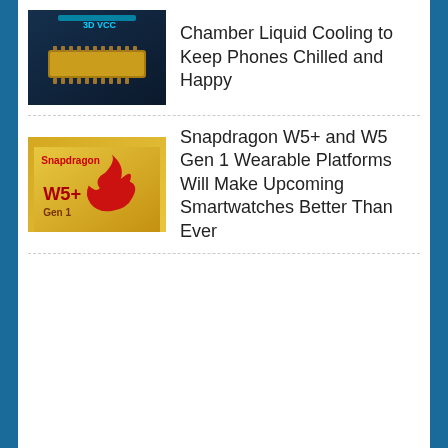[Figure (photo): 3D VCC chip/processor on dark background — liquid cooling technology illustration]
Chamber Liquid Cooling to Keep Phones Chilled and Happy
[Figure (photo): Snapdragon W5+ Gen 1 chip on golden yellow background with red flame logo]
Snapdragon W5+ and W5 Gen 1 Wearable Platforms Will Make Upcoming Smartwatches Better Than Ever